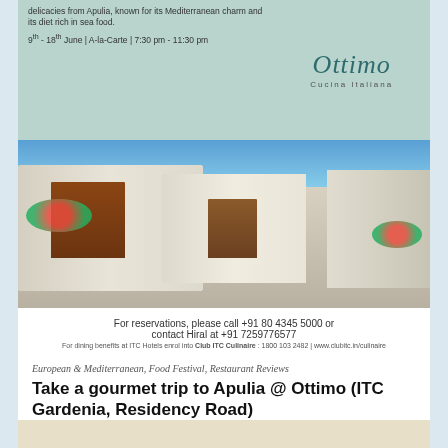[Figure (photo): A banner advertisement for Ottimo Cucina Italiana restaurant featuring text about Apulian delicacies, dates 9th-18th June, A-la-Carte, 7:30 pm - 11:30 pm, with the Ottimo logo on teal background]
[Figure (photo): A panoramic photo of a white-washed stone street in Apulia, Italy, with trulli buildings, wooden doors, and red geranium flowers]
For reservations, please call +91 80 4345 5000 or contact Hiral at +91 7259776577
For dining benefits at ITC Hotels enrol into Club ITC Culinaire : 1800 103 2482 | www.clubitc.in/culinaire
European & Mediterranean, Food Festival, Restaurant Reviews
Take a gourmet trip to Apulia @ Ottimo (ITC Gardenia, Residency Road)
Ottimo with its emphasis on showcasing traditional Italian cuisine, brings to us the food from the region of Apulia or Puglia till the 18th of June. Popularly known as...
June 12, 2017 — Comments 0
[Figure (photo): Bottom partial preview of another article image with beige/cream background]